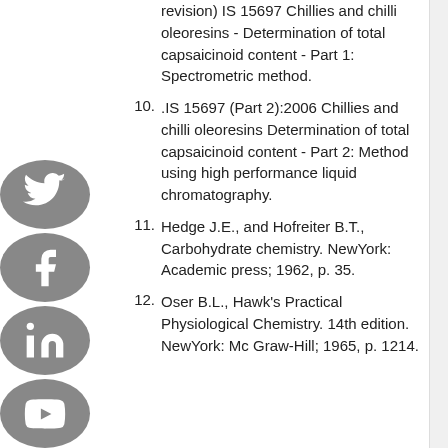revision) IS 15697 Chillies and chilli oleoresins - Determination of total capsaicinoid content - Part 1: Spectrometric method.
10. .IS 15697 (Part 2):2006 Chillies and chilli oleoresins Determination of total capsaicinoid content - Part 2: Method using high performance liquid chromatography.
11. Hedge J.E., and Hofreiter B.T., Carbohydrate chemistry. NewYork: Academic press; 1962, p. 35.
12. Oser B.L., Hawk's Practical Physiological Chemistry. 14th edition. NewYork: Mc Graw-Hill; 1965, p. 1214.